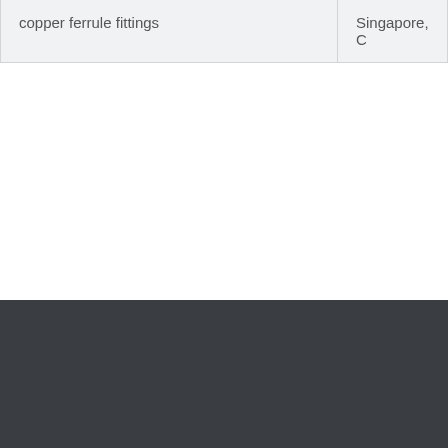| copper ferrule fittings | Singapore, C |
FITTING AND FLANGE
Stainless Steel 304 Flanges